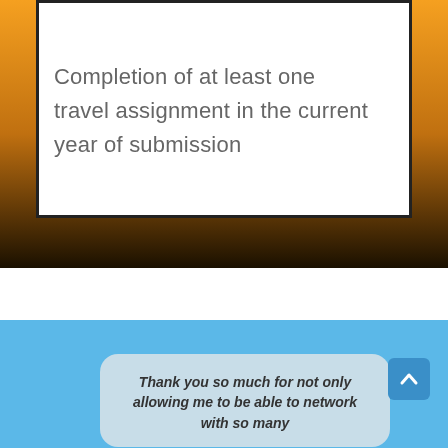Completion of at least one travel assignment in the current year of submission
Thank you so much for not only allowing me to be able to network with so many